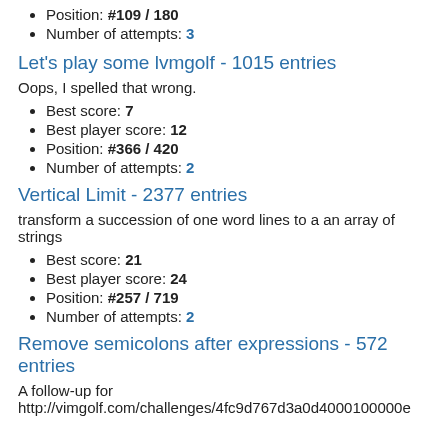Position: #109 / 180
Number of attempts: 3
Let's play some lvmgolf - 1015 entries
Oops, I spelled that wrong.
Best score: 7
Best player score: 12
Position: #366 / 420
Number of attempts: 2
Vertical Limit - 2377 entries
transform a succession of one word lines to a an array of strings
Best score: 21
Best player score: 24
Position: #257 / 719
Number of attempts: 2
Remove semicolons after expressions - 572 entries
A follow-up for http://vimgolf.com/challenges/4fc9d767d3a0d4000100000e